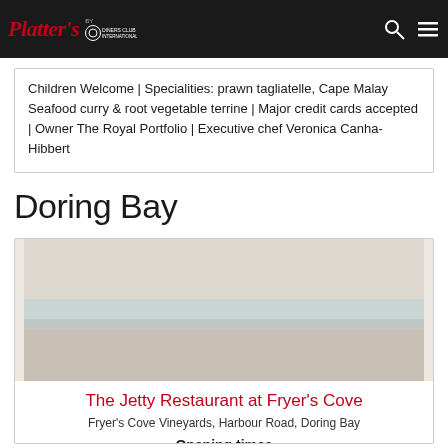Platter's | by Diners Club International
Children Welcome | Specialities: prawn tagliatelle, Cape Malay Seafood curry & root vegetable terrine | Major credit cards accepted | Owner The Royal Portfolio | Executive chef Veronica Canha-Hibbert
Doring Bay
[Figure (photo): Photo of The Jetty Restaurant at Fryer's Cove]
The Jetty Restaurant at Fryer's Cove
Fryer's Cove Vineyards, Harbour Road, Doring Bay
Opening times